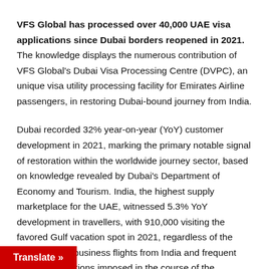VFS Global has processed over 40,000 UAE visa applications since Dubai borders reopened in 2021. The knowledge displays the numerous contribution of VFS Global's Dubai Visa Processing Centre (DVPC), an unique visa utility processing facility for Emirates Airline passengers, in restoring Dubai-bound journey from India.
Dubai recorded 32% year-on-year (YoY) customer development in 2021, marking the primary notable signal of restoration within the worldwide journey sector, based on knowledge revealed by Dubai's Department of Economy and Tourism. India, the highest supply marketplace for the UAE, witnessed 5.3% YoY development in travellers, with 910,000 visiting the favored Gulf vacation spot in 2021, regardless of the withdrawal of business flights from India and frequent journey restrictions imposed in the course of the pandemic.
Translate »